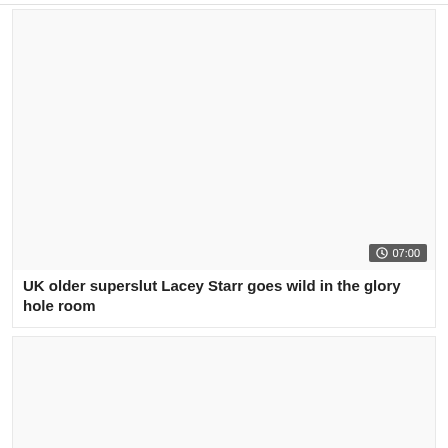[Figure (other): Video thumbnail placeholder, light gray background]
07:00
UK older superslut Lacey Starr goes wild in the glory hole room
[Figure (other): Second video thumbnail placeholder, light gray background with scroll-to-top button]